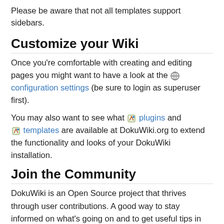Please be aware that not all templates support sidebars.
Customize your Wiki
Once you're comfortable with creating and editing pages you might want to have a look at the 🌐 configuration settings (be sure to login as superuser first).
You may also want to see what 🖊 plugins and 🖊 templates are available at DokuWiki.org to extend the functionality and looks of your DokuWiki installation.
Join the Community
DokuWiki is an Open Source project that thrives through user contributions. A good way to stay informed on what's going on and to get useful tips in using DokuWiki is subscribing to the 🖊 newsletter.
The 🌐 DokuWiki User Forum is an excellent way to get in